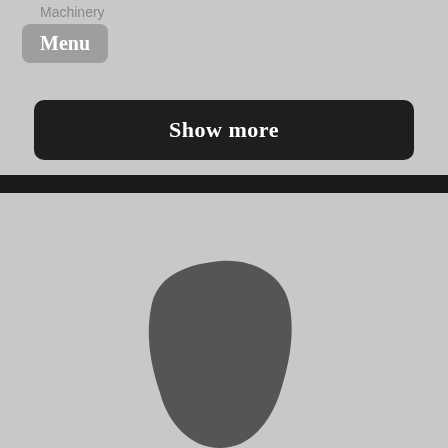Machinery
Menu
Show more
[Figure (photo): Placeholder image showing a dark silhouette of a person's head/avatar on a gray background]